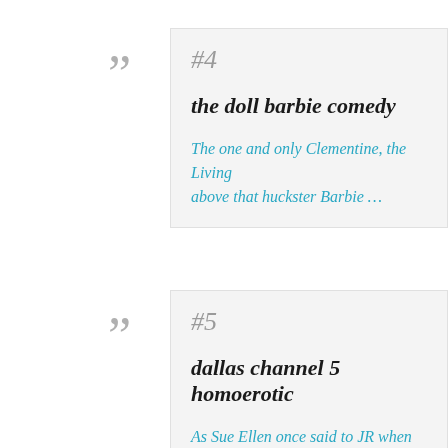#4
the doll barbie comedy
The one and only Clementine, the Living above that huckster Barbie …
#5
dallas channel 5 homoerotic
As Sue Ellen once said to JR when he too to run as he saw fit, "JR, you couldn't run